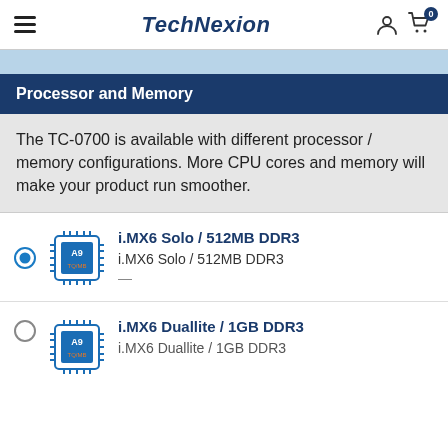TechNexion
Processor and Memory
The TC-0700 is available with different processor / memory configurations. More CPU cores and memory will make your product run smoother.
i.MX6 Solo / 512MB DDR3 — i.MX6 Solo / 512MB DDR3 —
i.MX6 Duallite / 1GB DDR3 — i.MX6 Duallite / 1GB DDR3